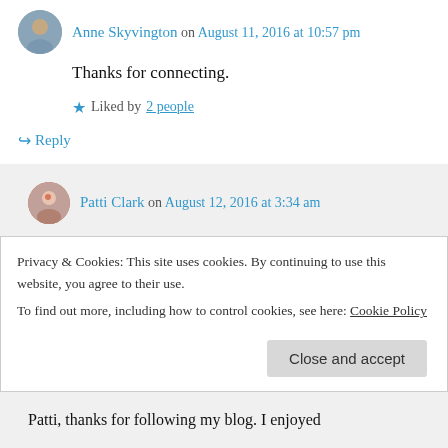Anne Skyvington on August 11, 2016 at 10:57 pm
Thanks for connecting.
★ Liked by 2 people
↪ Reply
Patti Clark on August 12, 2016 at 3:34 am
Thanks Anne. Great to be connected!
★ Like
Privacy & Cookies: This site uses cookies. By continuing to use this website, you agree to their use. To find out more, including how to control cookies, see here: Cookie Policy
Close and accept
Patti, thanks for following my blog. I enjoyed